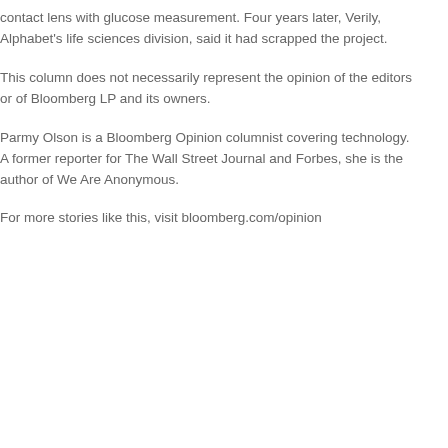contact lens with glucose measurement. Four years later, Verily, Alphabet's life sciences division, said it had scrapped the project.
This column does not necessarily represent the opinion of the editors or of Bloomberg LP and its owners.
Parmy Olson is a Bloomberg Opinion columnist covering technology. A former reporter for The Wall Street Journal and Forbes, she is the author of We Are Anonymous.
For more stories like this, visit bloomberg.com/opinion